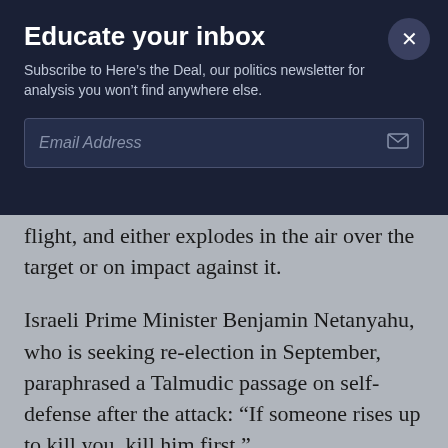Educate your inbox
Subscribe to Here's the Deal, our politics newsletter for analysis you won't find anywhere else.
flight, and either explodes in the air over the target or on impact against it.
Israeli Prime Minister Benjamin Netanyahu, who is seeking re-election in September, paraphrased a Talmudic passage on self-defense after the attack: “If someone rises up to kill you, kill him first.”
Israel’s military released a map Sunday of what it said was the terrain around — text continues…